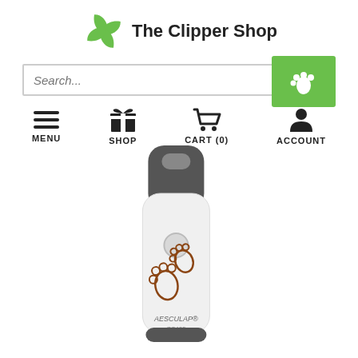[Figure (logo): The Clipper Shop logo: green pinwheel/fan icon with text 'The Clipper Shop']
[Figure (screenshot): Search bar with placeholder text 'Search...' and green search button icon on the right]
[Figure (infographic): Navigation bar with four icons: hamburger menu (MENU), gift box (SHOP), shopping cart (CART (0)), and person silhouette (ACCOUNT)]
[Figure (photo): White Aesculap GT405 pet clipper with paw print decorations and dark grey top section]
[Figure (other): Green square button with white paw print icon]